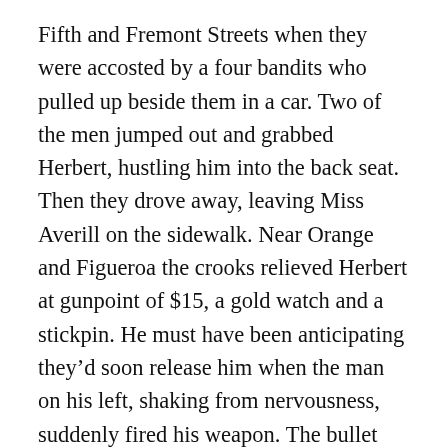Fifth and Fremont Streets when they were accosted by a four bandits who pulled up beside them in a car. Two of the men jumped out and grabbed Herbert, hustling him into the back seat. Then they drove away, leaving Miss Averill on the sidewalk. Near Orange and Figueroa the crooks relieved Herbert at gunpoint of $15, a gold watch and a stickpin. He must have been anticipating they'd soon release him when the man on his left, shaking from nervousness, suddenly fired his weapon. The bullet went through Herbert's back, and next thing he knew, he'd been shoved onto the street in front of 1127 Orange Street. The wounded man made it into the Baltic Apartments, where he found aid and was taken to the Receiving